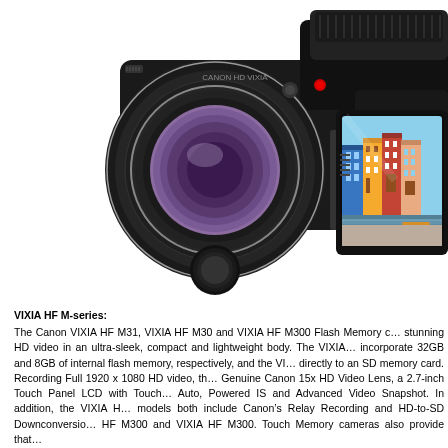[Figure (photo): Canon VIXIA HF camcorder in black, showing the camera body with lens on the left and the flip-out LCD screen on the right displaying colorful buildings along a canal (Venice/Burano style), shot from a low angle against a white background.]
VIXIA HF M-series:
The Canon VIXIA HF M31, VIXIA HF M30 and VIXIA HF M300 Flash Memory camcorders capture stunning HD video in an ultra-sleek, compact and lightweight body. The VIXIA HF M31 and M30 incorporate 32GB and 8GB of internal flash memory, respectively, and the VIXIA HF M300 records directly to an SD memory card. Recording Full 1920 x 1080 HD video, the cameras feature a Genuine Canon 15x HD Video Lens, a 2.7-inch Touch Panel LCD with Touch & Track, Instant Auto, Powered IS and Advanced Video Snapshot. In addition, the VIXIA HF M31 and M30 models both include Canon's Relay Recording and HD-to-SD Downconversion, while the VIXIA HF M300 and VIXIA HF M300. Touch Memory cameras also provide that